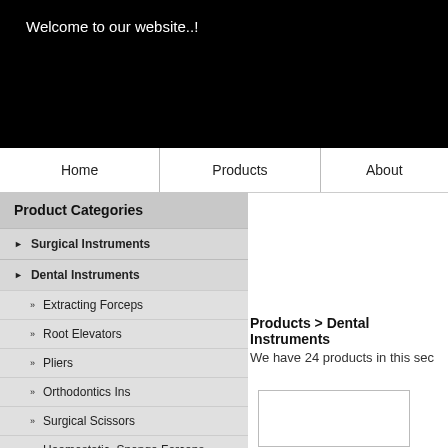Welcome to our website..!
Home
Products
About
Product Categories
▶ Surgical Instruments
▶ Dental Instruments
» Extracting Forceps
» Root Elevators
» Pliers
» Orthodontics Ins
» Surgical Scissors
» Haemostatic, Sponge Forceps
Products > Dental Instruments
We have 24 products in this sec